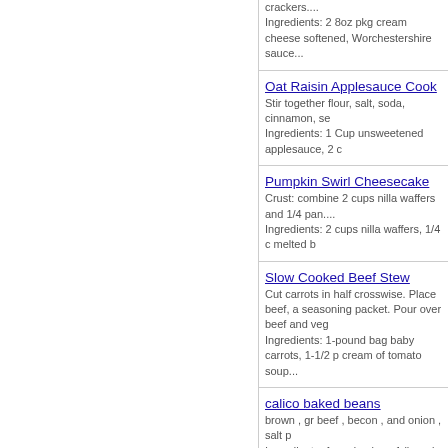crackers....
Ingredients: 2 8oz pkg cream cheese softened, Worchestershire sauce...
Oat Raisin Applesauce Cook
Stir together flour, salt, soda, cinnamon, se
Ingredients: 1 Cup unsweetened applesauce, 2 c
Pumpkin Swirl Cheesecake
Crust: combine 2 cups nilla waffers and 1/4 pan....
Ingredients: 2 cups nilla waffers, 1/4 c melted b
Slow Cooked Beef Stew
Cut carrots in half crosswise. Place beef, a seasoning packet. Pour over beef and veg
Ingredients: 1-pound bag baby carrots, 1-1/2 p cream of tomato soup...
calico baked beans
brown , gr beef , becon , and onion , salt p
Ingredients: 1 med onion , 1 lb pork and beans
Crustless pumkin pie
mix together until smooth pour in 9in pie pa
Ingredients: 15 oz can pumpkin , 12oz fat free
Orange delight
mix jello with wish + ice cubes add vanilla p carbs worth of fat free cool whip ...
Ingredients: 1 box sugar free orange jello